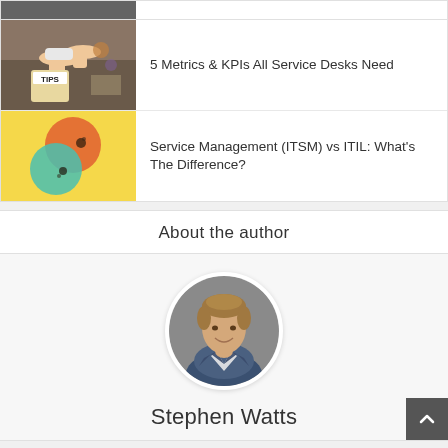[Figure (photo): Partial thumbnail of first article card (cropped at top)]
5 Metrics & KPIs All Service Desks Need
[Figure (photo): Thumbnail image with hands and a TIPS jar, for article about service desk metrics]
[Figure (illustration): Venn diagram with three overlapping circles (orange, teal, and their intersection) on a yellow background, for ITSM vs ITIL article]
Service Management (ITSM) vs ITIL: What’s The Difference?
About the author
[Figure (photo): Circular portrait photo of Stephen Watts, a man with light brown hair wearing a blazer, against a gray background]
Stephen Watts